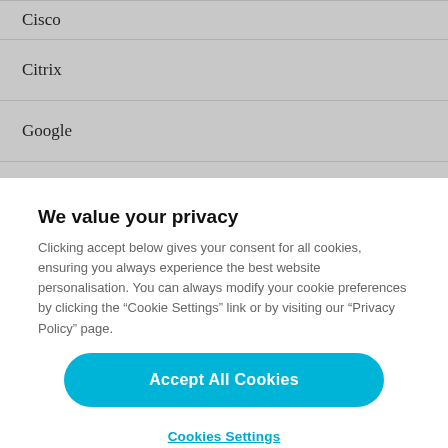Cisco
Citrix
Google
Hitachi Vantara
We value your privacy
Clicking accept below gives your consent for all cookies, ensuring you always experience the best website personalisation. You can always modify your cookie preferences by clicking the “Cookie Settings” link or by visiting our “Privacy Policy” page.
Accept All Cookies
Cookies Settings